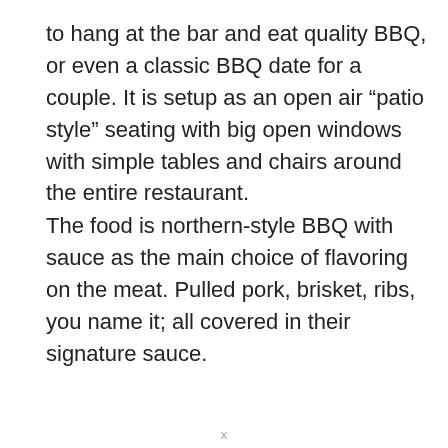to hang at the bar and eat quality BBQ, or even a classic BBQ date for a couple. It is setup as an open air “patio style” seating with big open windows with simple tables and chairs around the entire restaurant.
The food is northern-style BBQ with sauce as the main choice of flavoring on the meat. Pulled pork, brisket, ribs, you name it; all covered in their signature sauce.
x